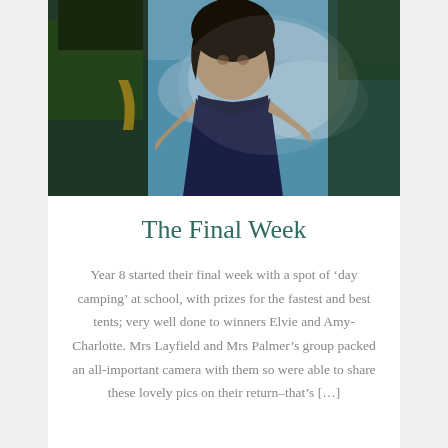[Figure (photo): Upward-looking photo of children outdoors, wearing green and dark blue shirts, with a bright blue sky in the background. The image is taken from below, giving a dramatic low-angle perspective.]
The Final Week
Year 8 started their final week with a spot of ‘day camping’ at school, with prizes for the fastest and best tents; very well done to winners Elvie and Amy-Charlotte. Mrs Layfield and Mrs Palmer’s group packed an all-important camera with them so were able to share these lovely pics on their return–that’s […]